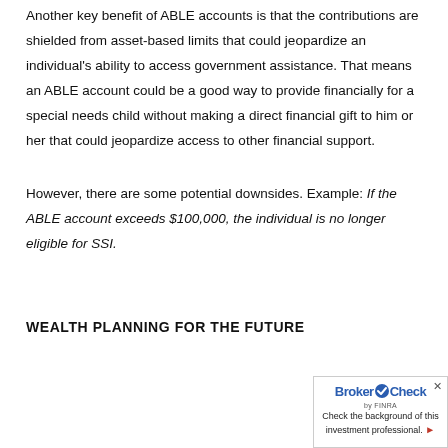Another key benefit of ABLE accounts is that the contributions are shielded from asset-based limits that could jeopardize an individual's ability to access government assistance. That means an ABLE account could be a good way to provide financially for a special needs child without making a direct financial gift to him or her that could jeopardize access to other financial support.
However, there are some potential downsides. Example: If the ABLE account exceeds $100,000, the individual is no longer eligible for SSI.
WEALTH PLANNING FOR THE FUTURE